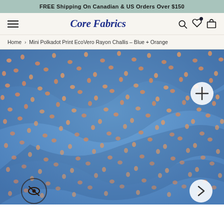FREE Shipping On Canadian & US Orders Over $150
[Figure (screenshot): Core Fabrics website navigation bar with hamburger menu on left, 'Core Fabrics' logo in blue italic in center, and search, wishlist, and cart icons on right]
Home › Mini Polkadot Print EcoVero Rayon Challis – Blue + Orange
[Figure (photo): Close-up photo of blue fabric with orange/peach mini polkadot print (EcoVero Rayon Challis), showing draped folds of the fabric. Has a plus/zoom button in top right, an eye/hide icon button in bottom left, and a right arrow navigation button in bottom right.]